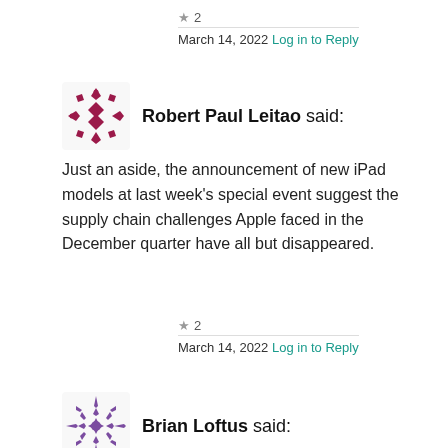★ 2
March 14, 2022 Log in to Reply
Robert Paul Leitao said:
Just an aside, the announcement of new iPad models at last week's special event suggest the supply chain challenges Apple faced in the December quarter have all but disappeared.
★ 2
March 14, 2022 Log in to Reply
Brian Loftus said: